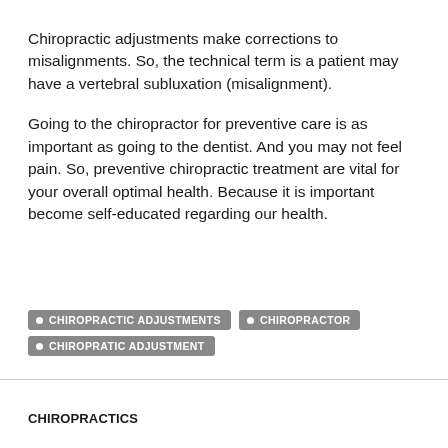Chiropractic adjustments make corrections to misalignments. So, the technical term is a patient may have a vertebral subluxation (misalignment).
Going to the chiropractor for preventive care is as important as going to the dentist.  And you may not feel pain.  So, preventive chiropractic treatment are vital for your overall optimal health. Because it is important become self-educated regarding our health.
CHIROPRACTIC ADJUSTMENTS
CHIROPRACTOR
CHIROPRATIC ADJUSTMENT
CHIROPRACTICS